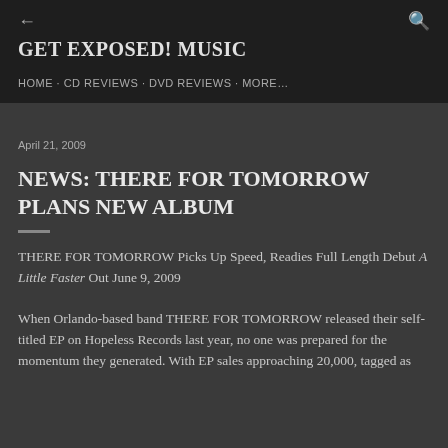← GET EXPOSED! MUSIC HOME · CD REVIEWS · DVD REVIEWS · MORE…
April 21, 2009
NEWS: THERE FOR TOMORROW PLANS NEW ALBUM
THERE FOR TOMORROW Picks Up Speed, Readies Full Length Debut A Little Faster Out June 9, 2009
When Orlando-based band THERE FOR TOMORROW released their self-titled EP on Hopeless Records last year, no one was prepared for the momentum they generated. With EP sales approaching 20,000, tagged as